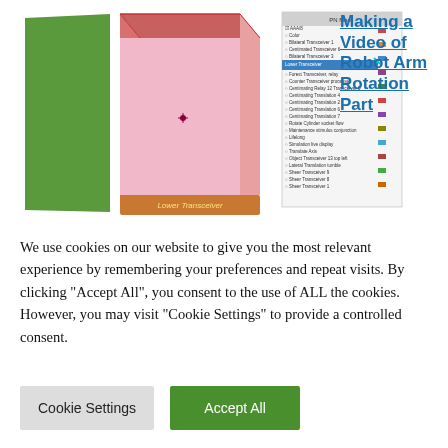[Figure (screenshot): 3D model of a robot arm component labeled 'Lower Transceiver' (pink/rose colored box shape) shown in a CAD viewer with a green panel on the left, alongside a layers/components panel listing multiple transceiver components.]
Making a Video of Robot Arm Rotation Part
We use cookies on our website to give you the most relevant experience by remembering your preferences and repeat visits. By clicking "Accept All", you consent to the use of ALL the cookies. However, you may visit "Cookie Settings" to provide a controlled consent.